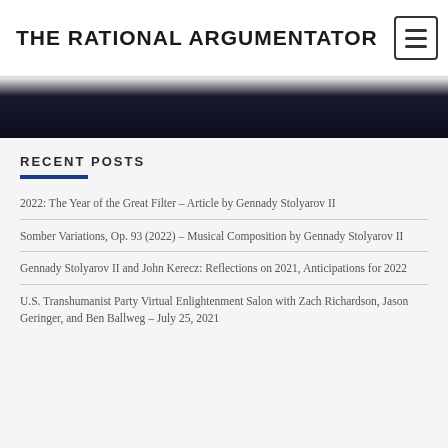THE RATIONAL ARGUMENTATOR
RECENT POSTS
2022: The Year of the Great Filter – Article by Gennady Stolyarov II
Somber Variations, Op. 93 (2022) – Musical Composition by Gennady Stolyarov II
Gennady Stolyarov II and John Kerecz: Reflections on 2021, Anticipations for 2022
U.S. Transhumanist Party Virtual Enlightenment Salon with Zach Richardson, Jason Geringer, and Ben Ballweg – July 25, 2021